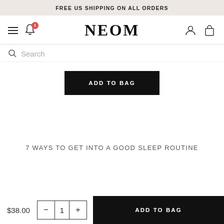FREE US SHIPPING ON ALL ORDERS
[Figure (screenshot): NEOM brand navigation bar with hamburger menu, bell notification icon with badge '1', NEOM logo in serif font, user account icon and shopping bag icon]
Search
ADD TO BAG
7 WAYS TO GET INTO A GOOD SLEEP ROUTINE
$38.00
ADD TO BAG